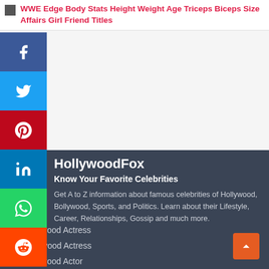WWE Edge Body Stats Height Weight Age Triceps Biceps Size Affairs Girl Friend Titles
[Figure (infographic): Social media sharing sidebar with Facebook, Twitter, Pinterest, LinkedIn, WhatsApp, and Reddit buttons]
HollywoodFox
Know Your Favorite Celebrities
Get A to Z information about famous celebrities of Hollywood, Bollywood, Sports, and Politics. Learn about their Lifestyle, Career, Relationships, Gossip and much more.
Bollywood Actress
Hollywood Actress
Bollywood Actor